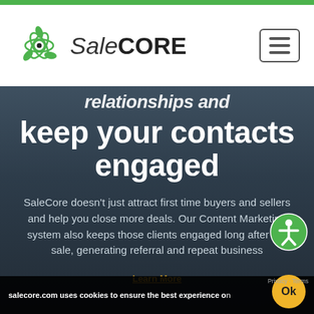SaleCORE
relationships and keep your contacts engaged
SaleCore doesn't just attract first time buyers and sellers and help you close more deals. Our Content Marketing system also keeps those clients engaged long after the sale, generating referral and repeat business
salecore.com uses cookies to ensure the best experience on
Learn More